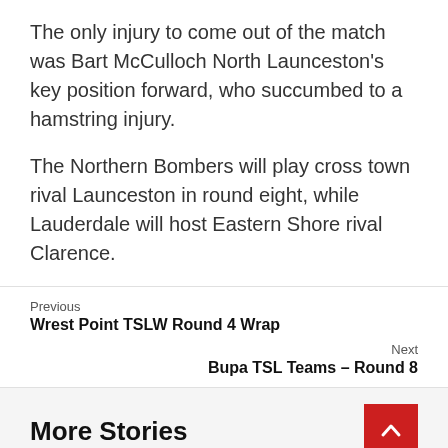The only injury to come out of the match was Bart McCulloch North Launceston's key position forward, who succumbed to a hamstring injury.
The Northern Bombers will play cross town rival Launceston in round eight, while Lauderdale will host Eastern Shore rival Clarence.
Previous
Wrest Point TSLW Round 4 Wrap
Next
Bupa TSL Teams – Round 8
More Stories
[Figure (photo): Two thumbnail images at bottom of page, partially visible]